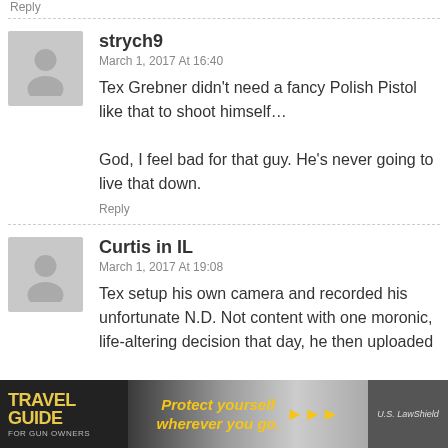Reply
strych9
March 1, 2017 At 16:40
Tex Grebner didn't need a fancy Polish Pistol like that to shoot himself…

God, I feel bad for that guy. He's never going to live that down.
Reply
Curtis in IL
March 1, 2017 At 19:08
Tex setup his own camera and recorded his unfortunate N.D. Not content with one moronic, life-altering decision that day, he then uploaded
[Figure (infographic): Advertisement banner: Travel Guide for Gun Owners / Protect yourself wherever you go. / U.S. LawShield]